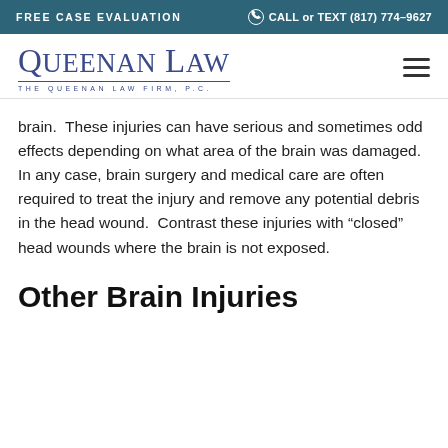FREE CASE EVALUATION | CALL or TEXT (817) 774-9627
[Figure (logo): Queenan Law - The Queenan Law Firm, P.C. logo in blue serif font with horizontal rule]
brain.  These injuries can have serious and sometimes odd effects depending on what area of the brain was damaged.  In any case, brain surgery and medical care are often required to treat the injury and remove any potential debris in the head wound.  Contrast these injuries with “closed” head wounds where the brain is not exposed.
Other Brain Injuries